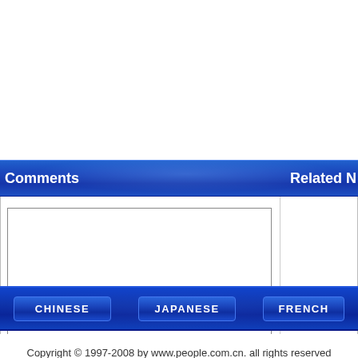Comments   Related N
[Figure (screenshot): Comment input textarea with Submit, Reset, and View buttons below it, and a right panel area]
[Figure (screenshot): Language navigation bar with CHINESE, JAPANESE, FRENCH buttons on blue gradient background]
Copyright © 1997-2008 by www.people.com.cn. all rights reserved